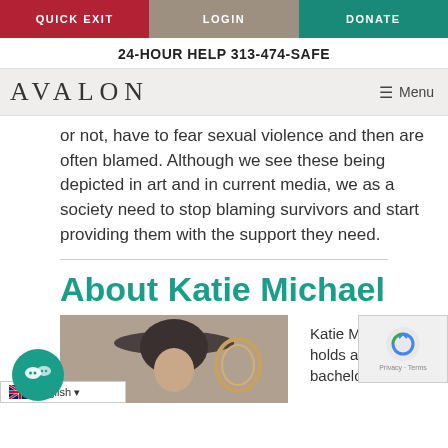QUICK EXIT | LOGIN | DONATE
24-HOUR HELP 313-474-SAFE
AVALON | Menu
or not, have to fear sexual violence and then are often blamed. Although we see these being depicted in art and in current media, we as a society need to stop blaming survivors and start providing them with the support they need.
About Katie Michael
[Figure (photo): Photo of Katie Michael wearing a wide-brim hat, with a decorative mirror visible in the background]
Katie Michael holds a bachelor in art